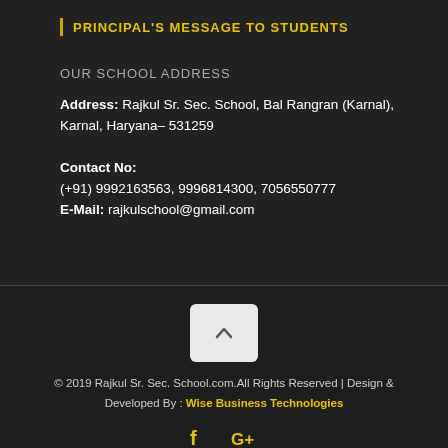PRINCIPAL'S MESSAGE TO STUDENTS
OUR SCHOOL ADDRESS
Address: Rajkul Sr. Sec. School, Bal Rangran (Karnal), Karnal, Haryana– 531259
Contact No:
(+91) 9992163563, 9996814300, 7056550777
E-Mail: rajkulschool@gmail.com
[Figure (other): Scroll-to-top button with upward caret arrow]
© 2019 Rajkul Sr. Sec. School.com.All Rights Reserved | Design & Developed By : Wise Business Technologies